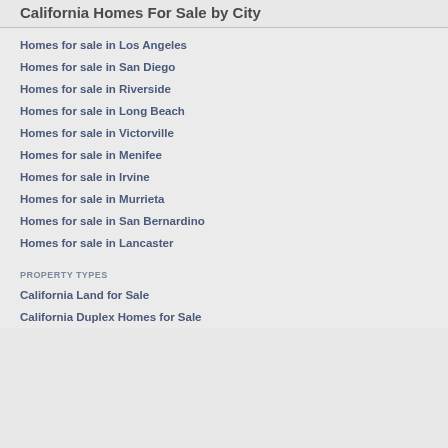California Homes For Sale by City
Homes for sale in Los Angeles
Homes for sale in San Diego
Homes for sale in Riverside
Homes for sale in Long Beach
Homes for sale in Victorville
Homes for sale in Menifee
Homes for sale in Irvine
Homes for sale in Murrieta
Homes for sale in San Bernardino
Homes for sale in Lancaster
PROPERTY TYPES
California Land for Sale
California Duplex Homes for Sale